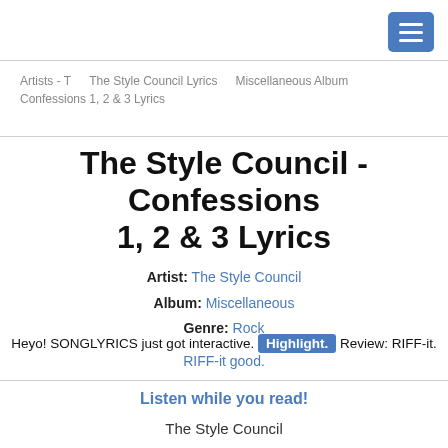[menu button]
Artists - T   The Style Council Lyrics   Miscellaneous Album
Confessions 1, 2 & 3 Lyrics
The Style Council - Confessions 1, 2 & 3 Lyrics
Artist: The Style Council
Album: Miscellaneous
Genre: Rock
Heyo! SONGLYRICS just got interactive. Highlight. Review: RIFF-it. RIFF-it good.
Listen while you read!
The Style Council